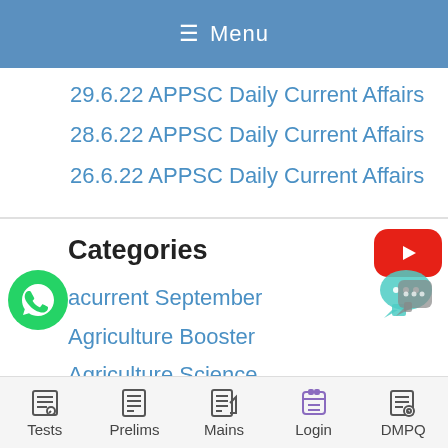Menu
29.6.22 APPSC Daily Current Affairs
28.6.22 APPSC Daily Current Affairs
26.6.22 APPSC Daily Current Affairs
Categories
[Figure (logo): YouTube play button red logo]
acurrent September
Agriculture Booster
Agriculture Science
[Figure (logo): WhatsApp green phone icon]
[Figure (illustration): Chat/messaging bubble icon with teal and grey colors]
Tests  Prelims  Mains  Login  DMPQ